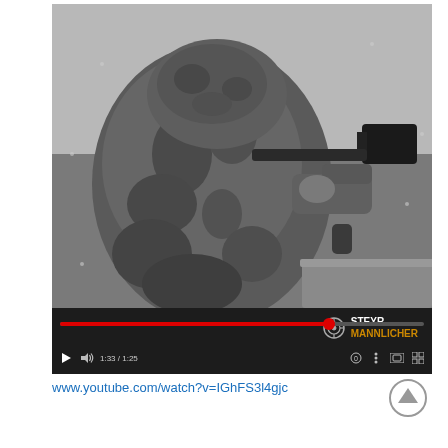[Figure (screenshot): YouTube video player screenshot showing a soldier in camouflage gear aiming a rifle with a scope, black and white image. Video has Steyr Mannlicher branding logo in the lower right of the video frame, a red progress bar nearly complete, and playback controls at the bottom showing time 1:33/1:25.]
www.youtube.com/watch?v=IGhFS3l4gjc